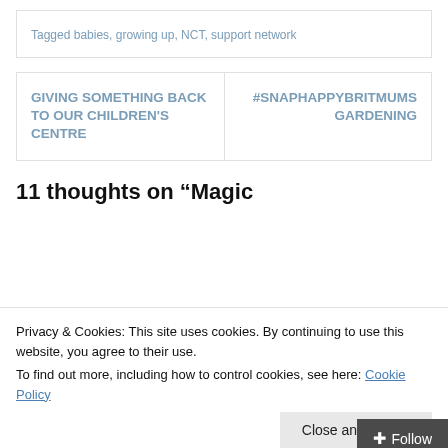Tagged babies, growing up, NCT, support network
GIVING SOMETHING BACK TO OUR CHILDREN'S CENTRE
#SNAPHAPPYBRITMUMS GARDENING
11 thoughts on “Magic
Privacy & Cookies: This site uses cookies. By continuing to use this website, you agree to their use.
To find out more, including how to control cookies, see here: Cookie Policy
Close and accept
Follow